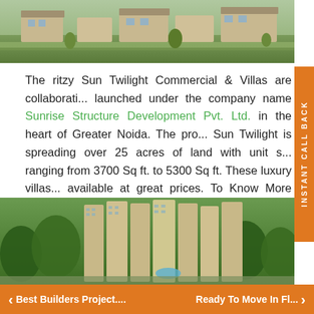[Figure (photo): Aerial/exterior view of Sun Twilight luxury villas with green landscaping]
The ritzy Sun Twilight Commercial & Villas are collaborati... launched under the company name Sunrise Structure Development Pvt. Ltd. in the heart of Greater Noida. The pro... Sun Twilight is spreading over 25 acres of land with unit s... ranging from 3700 Sq ft. to 5300 Sq ft. These luxury villas... available at great prices. To Know More About Sun Twilight
[Figure (photo): Aerial view of tall residential apartment buildings surrounded by green trees]
< Best Builders Project....   Ready To Move In Fl... >